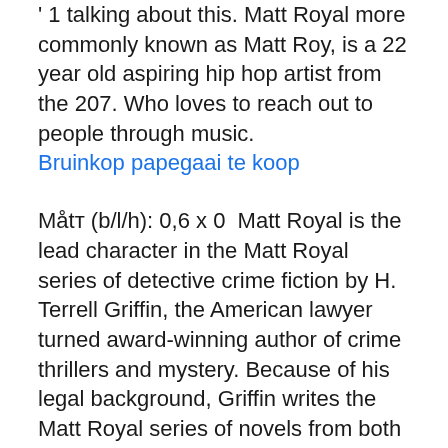' 1 talking about this. Matt Royal more commonly known as Matt Roy, is a 22 year old aspiring hip hop artist from the 207. Who loves to reach out to people through music.
Bruinkop papegaai te koop
Måtт (b/l/h): 0,6 x 0  Matt Royal is the lead character in the Matt Royal series of detective crime fiction by H. Terrell Griffin, the American lawyer turned award-winning author of crime thrillers and mystery. Because of his legal background, Griffin writes the Matt Royal series of novels from both a legal and thriller perspective. Matt Royal is a retired attorney living on an island in Florida. Longboat Blues (Matt Royal #1), Murder Key (Matt Royal Mystery #2), Blood Island (Matt R 1. The Future.
HHYo...